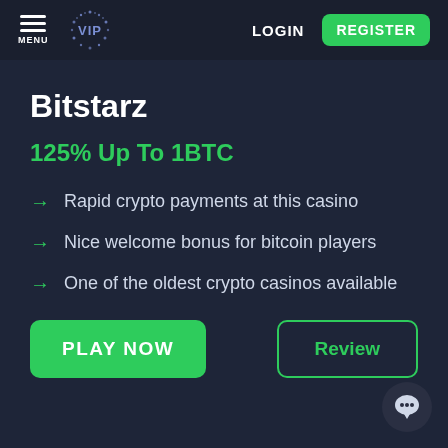MENU | VIP | LOGIN | REGISTER
Bitstarz
125% Up To 1BTC
Rapid crypto payments at this casino
Nice welcome bonus for bitcoin players
One of the oldest crypto casinos available
PLAY NOW
Review